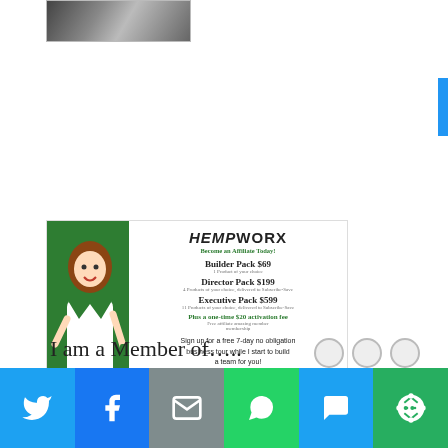[Figure (photo): Partial photo of a laptop/electronic device at top of page]
[Figure (infographic): HempWorx affiliate marketing ad showing cartoon woman, pricing tiers: Builder Pack $69, Director Pack $199, Executive Pack $599, plus a one-time $20 activation fee, with handwritten text: Sign up for a free 7-day no obligation business tour while I start to build a team for you!]
I am a Member of…..
[Figure (infographic): Social sharing bar with Twitter, Facebook, Email, WhatsApp, SMS, and More buttons]